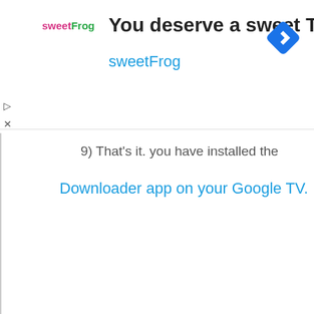[Figure (screenshot): sweetFrog advertisement banner with logo, title 'You deserve a sweet Treat', brand name 'sweetFrog', and a blue diamond navigation icon]
9) That's it. you have installed the
Downloader app on your Google TV.